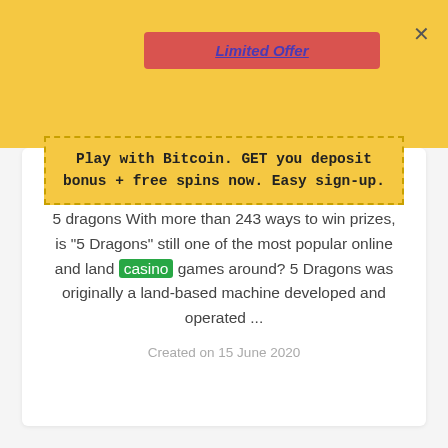[Figure (screenshot): Limited Offer button in red with purple underlined italic text]
Play with Bitcoin. GET you deposit bonus + free spins now. Easy sign-up.
5 Dragons
(Mini Games)
5 dragons With more than 243 ways to win prizes, is "5 Dragons" still one of the most popular online and land casino games around? 5 Dragons was originally a land-based machine developed and operated ...
Created on 15 June 2020